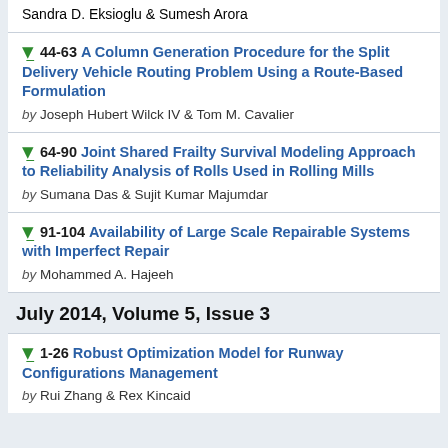Sandra D. Eksioglu & Sumesh Arora
44-63 A Column Generation Procedure for the Split Delivery Vehicle Routing Problem Using a Route-Based Formulation
by Joseph Hubert Wilck IV & Tom M. Cavalier
64-90 Joint Shared Frailty Survival Modeling Approach to Reliability Analysis of Rolls Used in Rolling Mills
by Sumana Das & Sujit Kumar Majumdar
91-104 Availability of Large Scale Repairable Systems with Imperfect Repair
by Mohammed A. Hajeeh
July 2014, Volume 5, Issue 3
1-26 Robust Optimization Model for Runway Configurations Management
by Rui Zhang & Rex Kincaid